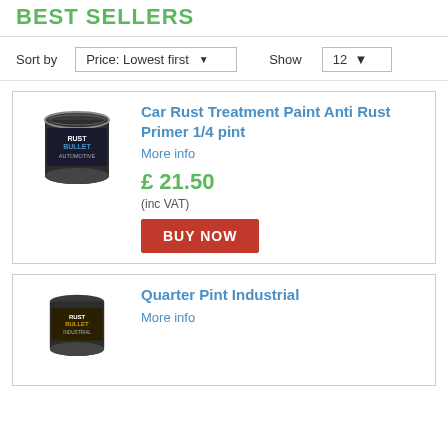BEST SELLERS
Sort by  Price: Lowest first   Show  12
Car Rust Treatment Paint Anti Rust Primer 1/4 pint
More info
£ 21.50
(inc VAT)
BUY NOW
Quarter Pint Industrial
More info